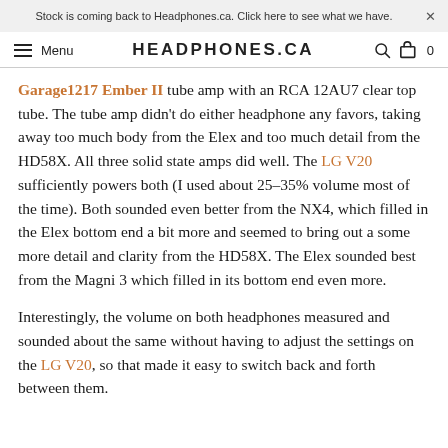Stock is coming back to Headphones.ca. Click here to see what we have. ×
Menu  HEADPHONES.CA  🔍  🛒 0
Garage1217 Ember II tube amp with an RCA 12AU7 clear top tube. The tube amp didn't do either headphone any favors, taking away too much body from the Elex and too much detail from the HD58X. All three solid state amps did well. The LG V20 sufficiently powers both (I used about 25–35% volume most of the time). Both sounded even better from the NX4, which filled in the Elex bottom end a bit more and seemed to bring out a some more detail and clarity from the HD58X. The Elex sounded best from the Magni 3 which filled in its bottom end even more.
Interestingly, the volume on both headphones measured and sounded about the same without having to adjust the settings on the LG V20, so that made it easy to switch back and forth between them.